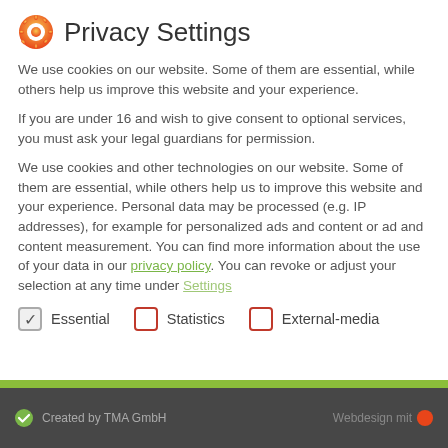Privacy Settings
We use cookies on our website. Some of them are essential, while others help us improve this website and your experience.
If you are under 16 and wish to give consent to optional services, you must ask your legal guardians for permission.
We use cookies and other technologies on our website. Some of them are essential, while others help us to improve this website and your experience. Personal data may be processed (e.g. IP addresses), for example for personalized ads and content or ad and content measurement. You can find more information about the use of your data in our privacy policy. You can revoke or adjust your selection at any time under Settings
Essential
Statistics
External-media
Created by TMA GmbH    Webdesign mit